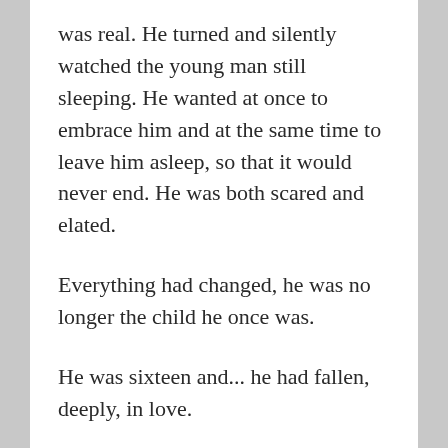was real. He turned and silently watched the young man still sleeping. He wanted at once to embrace him and at the same time to leave him asleep, so that it would never end. He was both scared and elated.
Everything had changed, he was no longer the child he once was.
He was sixteen and... he had fallen, deeply, in love.